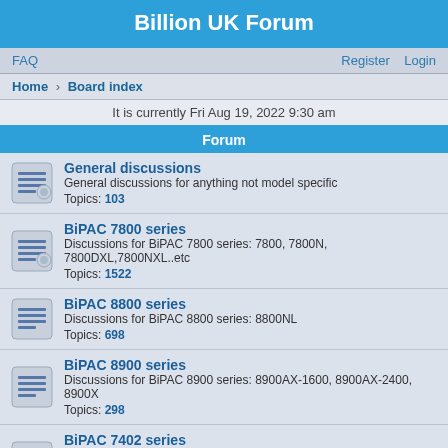Billion UK Forum
FAQ   Register   Login
Home › Board index
It is currently Fri Aug 19, 2022 9:30 am
Forum
General discussions
General discussions for anything not model specific
Topics: 103
BiPAC 7800 series
Discussions for BiPAC 7800 series: 7800, 7800N, 7800DXL,7800NXL..etc
Topics: 1522
BiPAC 8800 series
Discussions for BiPAC 8800 series: 8800NL
Topics: 698
BiPAC 8900 series
Discussions for BiPAC 8900 series: 8900AX-1600, 8900AX-2400, 8900X
Topics: 298
BiPAC 7402 series
Discussion for BiPAC 7402 series: 7402, 7402G, 7402X, 7402GX, 7402NX..etc
Topics: 54